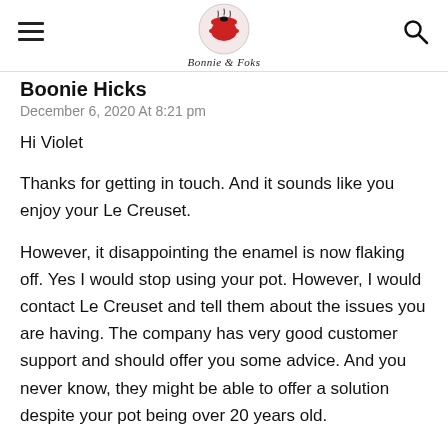Bonnie & Foks (logo)
Boonie Hicks
December 6, 2020 At 8:21 pm
Hi Violet

Thanks for getting in touch. And it sounds like you enjoy your Le Creuset.

However, it disappointing the enamel is now flaking off. Yes I would stop using your pot. However, I would contact Le Creuset and tell them about the issues you are having. The company has very good customer support and should offer you some advice. And you never know, they might be able to offer a solution despite your pot being over 20 years old.

If Le Creuset offer no solutions it could be time to